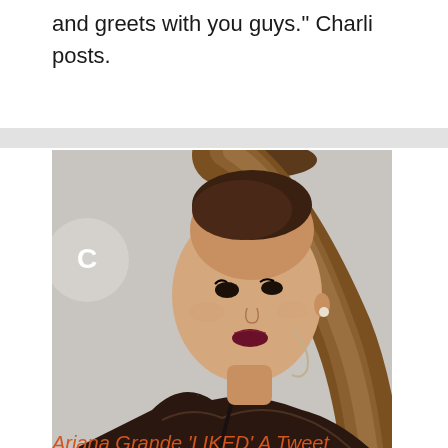and greets with you guys." Charli posts.
[Figure (photo): Photo of Ariana Grande at an awards event, wearing a lace dress, with a long high ponytail, looking over her shoulder toward the camera.]
26 December, 2019
Ariana Grande 'LIKED' A Tweet